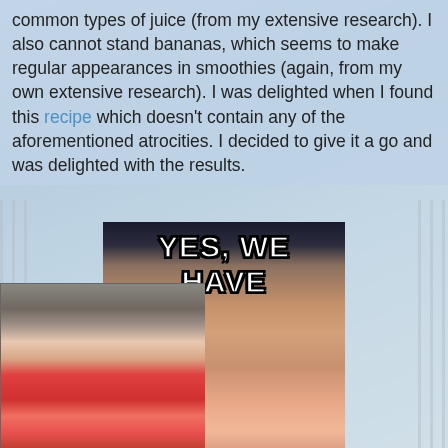common types of juice (from my extensive research). I also cannot stand bananas, which seems to make regular appearances in smoothies (again, from my own extensive research). I was delighted when I found this recipe which doesn't contain any of the aforementioned atrocities. I decided to give it a go and was delighted with the results.
[Figure (photo): Meme image showing a disapproving older woman (resembling Queen Elizabeth II) with the text 'YES, WE HAVE' at the top and 'NO BANANAS' at the bottom. Watermark reads memegenerator.net]
[Figure (photo): Photo of a blender pitcher containing a red/pink smoothie, sitting on a dark surface]